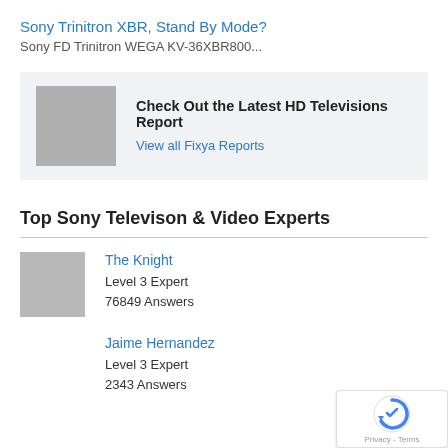Sony Trinitron XBR, Stand By Mode?
Sony FD Trinitron WEGA KV-36XBR800...
[Figure (other): Banner ad with gray placeholder image promoting HD Televisions Report]
Check Out the Latest HD Televisions Report
View all Fixya Reports
Top Sony Televison & Video Experts
The Knight
Level 3 Expert
76849 Answers
Jaime Hernandez
Level 3 Expert
2343 Answers